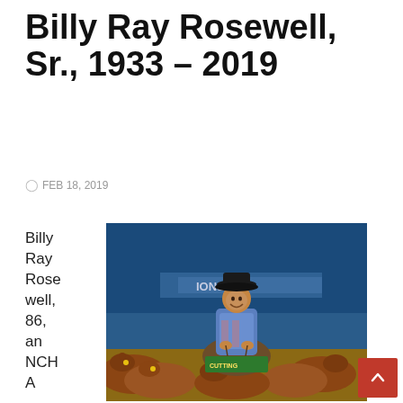Billy Ray Rosewell, Sr., 1933 – 2019
FEB 18, 2019
[Figure (photo): A man in a black cowboy hat and blue western shirt riding a horse surrounded by brown cattle at what appears to be a cutting horse championship event. A banner partially visible reads 'IONSHI...' in the background.]
Billy Ray Rosewell, 86, an NCHA